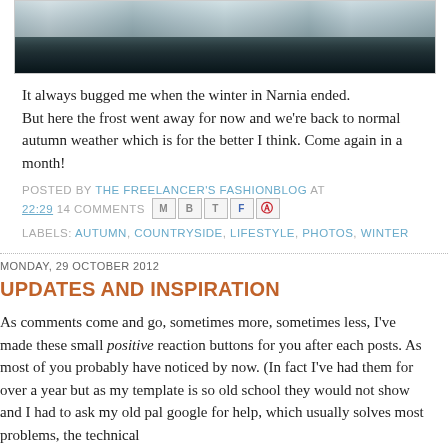[Figure (photo): Frost-covered winter landscape photo, cropped at top of page]
It always bugged me when the winter in Narnia ended. But here the frost went away for now and we're back to normal autumn weather which is for the better I think. Come again in a month!
POSTED BY THE FREELANCER'S FASHIONBLOG AT 22:29 14 COMMENTS [share icons]
LABELS: AUTUMN, COUNTRYSIDE, LIFESTYLE, PHOTOS, WINTER
MONDAY, 29 OCTOBER 2012
UPDATES AND INSPIRATION
As comments come and go, sometimes more, sometimes less, I've made these small positive reaction buttons for you after each posts. As most of you probably have noticed by now. (In fact I've had them for over a year but as my template is so old school they would not show and I had to ask my old pal google for help, which usually solves most problems, the technical